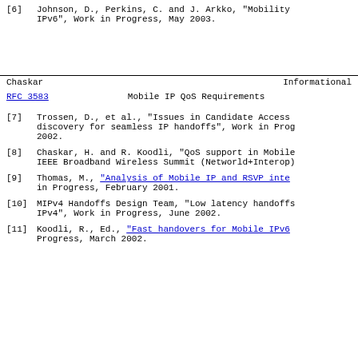[6]   Johnson, D., Perkins, C. and J. Arkko, "Mobility IPv6", Work in Progress, May 2003.
Chaskar                         Informational
RFC 3583                    Mobile IP QoS Requirements
[7]   Trossen, D., et al., "Issues in Candidate Access discovery for seamless IP handoffs", Work in Progress, 2002.
[8]   Chaskar, H. and R. Koodli, "QoS support in Mobile IEEE Broadband Wireless Summit (Networld+Interop).
[9]   Thomas, M., "Analysis of Mobile IP and RSVP inter in Progress, February 2001.
[10]  MIPv4 Handoffs Design Team, "Low latency handoffs IPv4", Work in Progress, June 2002.
[11]  Koodli, R., Ed., "Fast handovers for Mobile IPv6 Progress, March 2002.